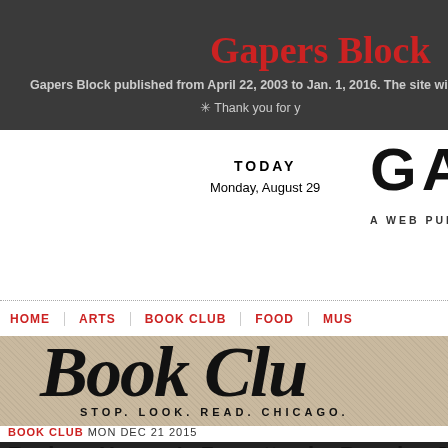Gapers Block
Gapers Block published from April 22, 2003 to Jan. 1, 2016. The site will r
✳ Thank you for y
TODAY
Monday, August 29
GAPER
A WEB PUBLICATION + ES
HOME | ARTS | BOOK CLUB | FOOD | MUS
[Figure (illustration): Book Club banner with large italic text 'Book Clu' and tagline 'STOP. LOOK. READ. CHICAGO.' on a textured tan background]
BOOK CLUB MON DEC 21 2015
Review: Heaven's Forgotten by Branden John